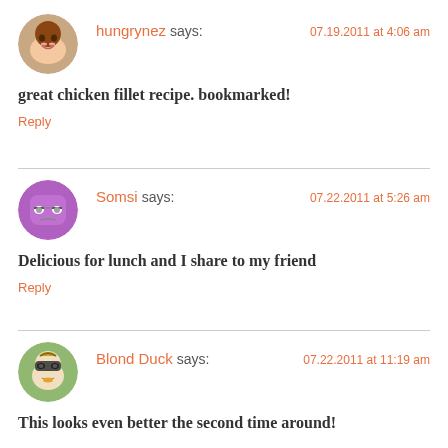[Figure (illustration): Circular avatar of user hungrynez showing a smiling woman]
hungrynez says:  07.19.2011 at 4:06 am
great chicken fillet recipe. bookmarked!
Reply
[Figure (illustration): Circular avatar of user Somsi showing a purple emoji-style face with glasses]
Somsi says:  07.22.2011 at 5:26 am
Delicious for lunch and I share to my friend
Reply
[Figure (illustration): Circular avatar of user Blond Duck showing a cartoon duck with sunglasses]
Blond Duck says:  07.22.2011 at 11:19 am
This looks even better the second time around!